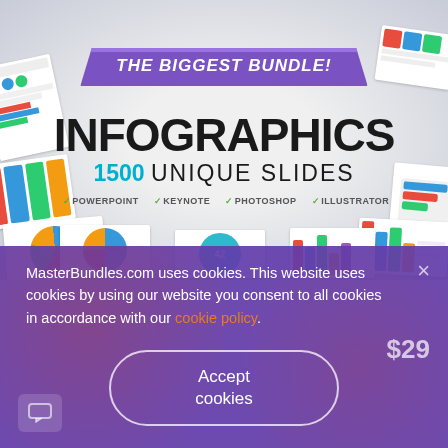[Figure (screenshot): Infographics bundle product page showing 'THE BIGGEST BUNDLE!' brush banner, 'INFOGRAPHICS 1500 UNIQUE SLIDES' heading, and software compatibility logos for PowerPoint, Keynote, Photoshop, Illustrator, surrounded by colorful slide thumbnails on a light grey radial background.]
MasterBundles.com uses cookies. This website uses cookies by using our website you consent to all cookies in accordance with our cookie policy. $29
Accept cookies